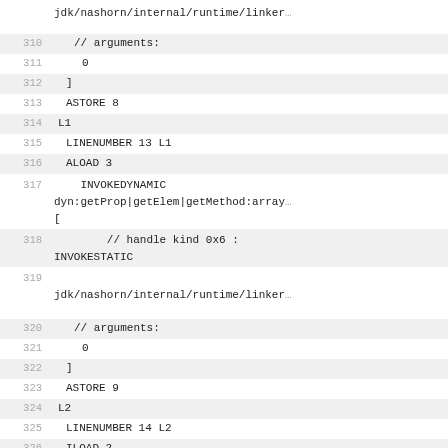jdk/nashorn/internal/runtime/linker
310    // arguments:
311    0
312    ]
313    ASTORE 8
314  L1
315    LINENUMBER 13 L1
316    ALOAD 3
317    INVOKEDYNAMIC dyn:getProp|getElem|getMethod:array [
318      // handle kind 0x6 : INVOKESTATIC
319    jdk/nashorn/internal/runtime/linker
320      // arguments:
321    0
322    ]
323    ASTORE 9
324  L2
325    LINENUMBER 14 L2
326    ILOAD 2
327    SIPUSH 16383
328    IAND
329    ISTORE 10
330    ILOAD 2
331    BIPUSH 14